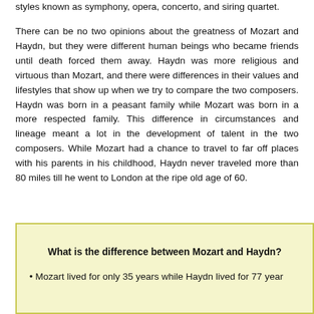styles known as symphony, opera, concerto, and siring quartet.
There can be no two opinions about the greatness of Mozart and Haydn, but they were different human beings who became friends until death forced them away. Haydn was more religious and virtuous than Mozart, and there were differences in their values and lifestyles that show up when we try to compare the two composers. Haydn was born in a peasant family while Mozart was born in a more respected family. This difference in circumstances and lineage meant a lot in the development of talent in the two composers. While Mozart had a chance to travel to far off places with his parents in his childhood, Haydn never traveled more than 80 miles till he went to London at the ripe old age of 60.
What is the difference between Mozart and Haydn?
Mozart lived for only 35 years while Haydn lived for 77 year